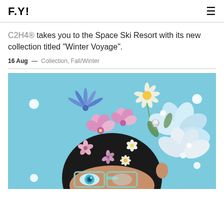F.Y!
C2H4® takes you to the Space Ski Resort with its new collection titled “Winter Voyage”.
16 Aug — Collection, Fall/Winter
[Figure (photo): Fashion editorial photo of a person with dark hair adorned with colorful flowers including white, pink, and blue blooms, wearing futuristic goggles/glasses with an eye motif, against a light blue background with pearl-like spheres floating around.]